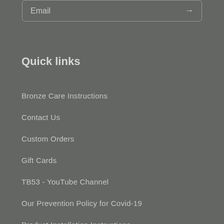Email →
Quick links
Bronze Care Instructions
Contact Us
Custom Orders
Gift Cards
TB53 - YouTube Channel
Our Prevention Policy for Covid-19
Product Installation Instructions